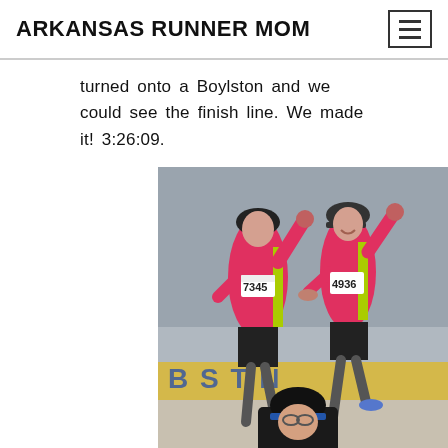ARKANSAS RUNNER MOM
turned onto a Boylston and we could see the finish line. We made it! 3:26:09.
[Figure (photo): Two women in pink/red running gear with race bibs (7345 and 4936) crossing the Boston Marathon finish line with arms raised in celebration, holding hands. A third runner in black is visible in the foreground.]